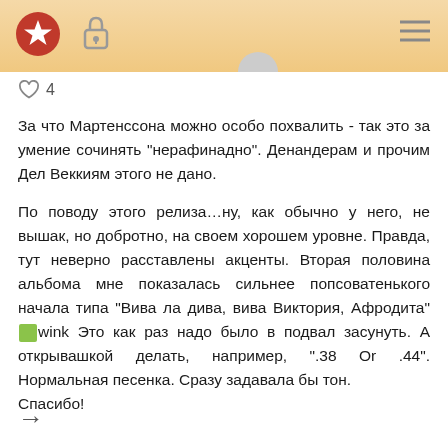[Navigation bar with star logo, lock icon, hamburger menu]
♡ 4
За что Мартенссона можно особо похвалить - так это за умение сочинять "нерафинадно". Денандерам и прочим Дел Веккиям этого не дано.
По поводу этого релиза…ну, как обычно у него, не вышак, но добротно, на своем хорошем уровне. Правда, тут неверно расставлены акценты. Вторая половина альбома мне показалась сильнее попсоватенького начала типа "Вива ла дива, вива Виктория, Афродита" [wink] Это как раз надо было в подвал засунуть. А открывашкой делать, например, ".38 Or .44". Нормальная песенка. Сразу задавала бы тон.
Спасибо!
→